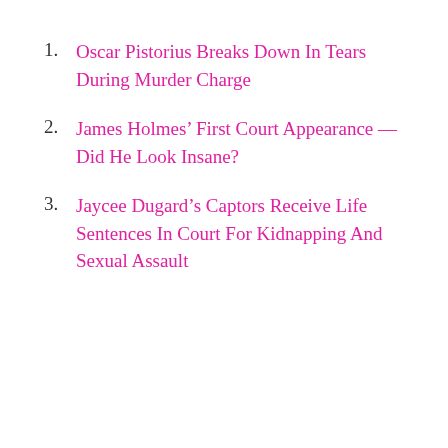Oscar Pistorius Breaks Down In Tears During Murder Charge
James Holmes’ First Court Appearance — Did He Look Insane?
Jaycee Dugard’s Captors Receive Life Sentences In Court For Kidnapping And Sexual Assault